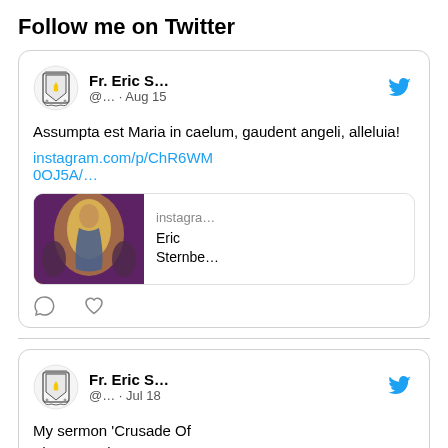Follow me on Twitter
[Figure (screenshot): First tweet card: Fr. Eric S... @.. · Aug 15. Text: Assumpta est Maria in caelum, gaudent angeli, alleluia! instagram.com/p/ChR6WM0OJ5A/… with an Instagram preview showing a religious image and 'instagra... Eric Sternbe...' text. Reply and like icons shown at bottom.]
[Figure (screenshot): Second tweet card (partial): Fr. Eric S... @... · Jul 18. Text starts: My sermon 'Crusade Of The Sacred Heart V -]